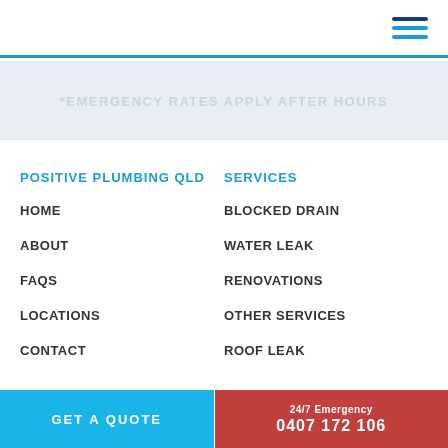[Figure (other): Hamburger menu icon with three horizontal lines (dark navy and blue)]
*EMERGENCY RATES APPLY AFTER HOURS
POSITIVE PLUMBING QLD
HOME
ABOUT
FAQS
LOCATIONS
CONTACT
SERVICES
BLOCKED DRAIN
WATER LEAK
RENOVATIONS
OTHER SERVICES
ROOF LEAK
GET A QUOTE
24/7 Emergency
0407 172 106